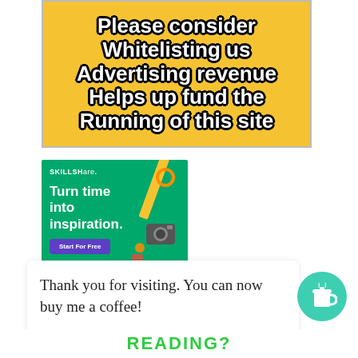[Figure (infographic): Yellow banner with bold white outlined text reading: Please consider Whitelisting us Advertising revenue Helps up fund the Running of this site]
[Figure (screenshot): Skillshare advertisement banner on green background: SKILLSHARE. Turn time into inspiration. Start For Free button in purple.]
Thank you for visiting. You can now buy me a coffee!
[Figure (illustration): Teal circular button with a coffee cup icon]
READING?